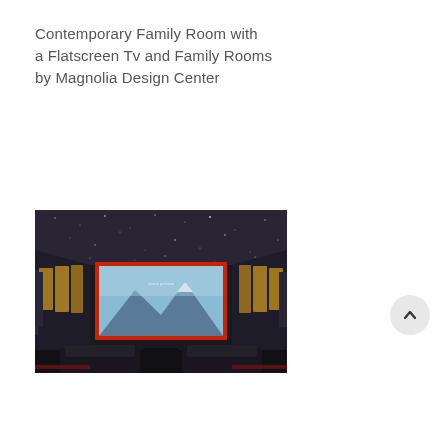Contemporary Family Room with a Flatscreen Tv and Family Rooms by Magnolia Design Center
[Figure (photo): Interior photo of a luxury home theater room with dark walls featuring illuminated acoustic panels, a large projection screen showing a mountain landscape, star-field ceiling with tiny lights, and dark leather seating. The screen has a red border and the room has a cinematic, upscale aesthetic.]